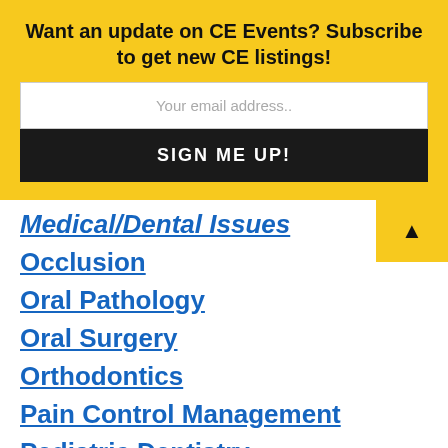Want an update on CE Events? Subscribe to get new CE listings!
Your email address..
SIGN ME UP!
Medical/Dental Issues
Occlusion
Oral Pathology
Oral Surgery
Orthodontics
Pain Control Management
Pediatric Dentistry
Periodontology
Pharmacology
Practice and Personal Management